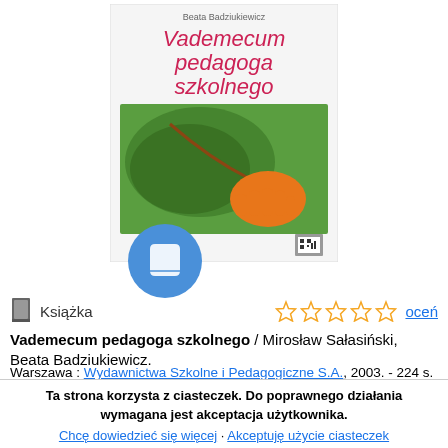[Figure (illustration): Book cover of 'Vademecum pedagoga szkolnego' showing title in red text on white background with green scribble art and an orange handprint, with a blue circle book icon overlay at bottom left]
Książka
oceń
Vademecum pedagoga szkolnego / Mirosław Sałasiński, Beata Badziukiewicz.
Warszawa : Wydawnictwa Szkolne i Pedagogiczne S.A., 2003. - 224 s. ; 23 cm.
ISBN: 83-02-08760-2
Temat: Pedagodzy szkolni - podręcznik ; Wychowanie - metody - badanie ; Uczniowie - patologia społeczna - zapobieganie i
Ta strona korzysta z ciasteczek. Do poprawnego działania wymagana jest akceptacja użytkownika.
Chcę dowiedzieć się więcej · Akceptuję użycie ciasteczek